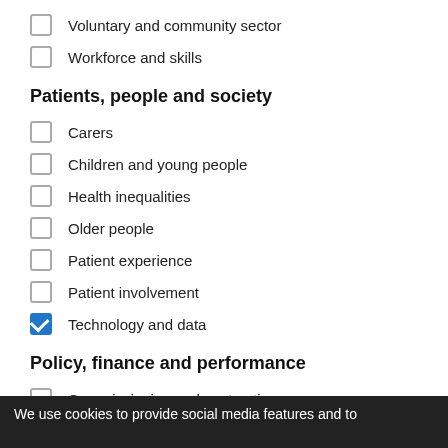Voluntary and community sector
Workforce and skills
Patients, people and society
Carers
Children and young people
Health inequalities
Older people
Patient experience
Patient involvement
Technology and data (checked)
Policy, finance and performance
Commissioning and contracting
Governance and regulation
Health and Social Care Act 2012 (checked, struck through)
We use cookies to provide social media features and to